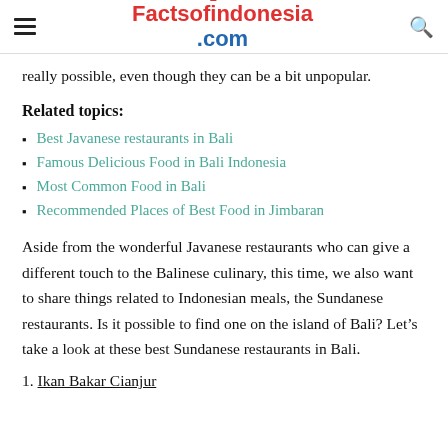Factsofindonesia.com
really possible, even though they can be a bit unpopular.
Related topics:
Best Javanese restaurants in Bali
Famous Delicious Food in Bali Indonesia
Most Common Food in Bali
Recommended Places of Best Food in Jimbaran
Aside from the wonderful Javanese restaurants who can give a different touch to the Balinese culinary, this time, we also want to share things related to Indonesian meals, the Sundanese restaurants. Is it possible to find one on the island of Bali? Let’s take a look at these best Sundanese restaurants in Bali.
1. Ikan Bakar Cianjur